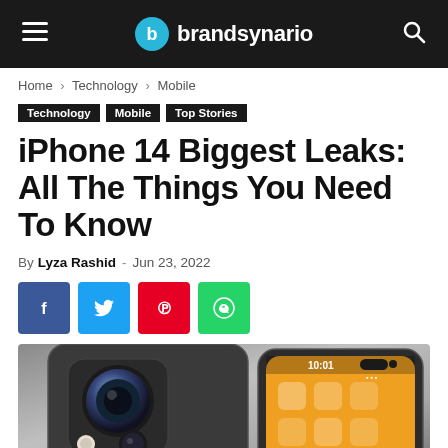brandsynario
Home › Technology › Mobile
Technology  Mobile  Top Stories
iPhone 14 Biggest Leaks: All The Things You Need To Know
By Lyza Rashid - Jun 23, 2022
[Figure (infographic): Social share buttons: Facebook, Twitter, Pinterest, WhatsApp]
[Figure (photo): iPhone 14 concept render showing rear camera module and front screen with pill-shaped notch, time 10:01 displayed]